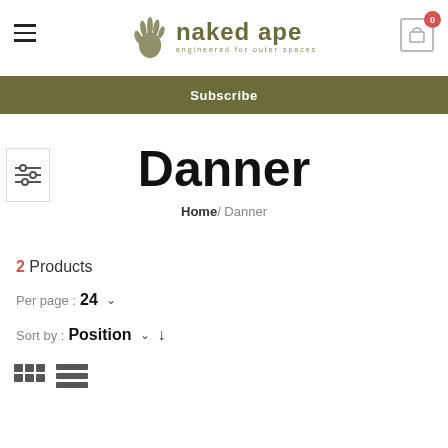naked ape — engineered for outer spaces — Menu and Cart
Subscribe
Danner
Home / Danner
2 Products
Per page : 24
Sort by : Position
[Figure (screenshot): Grid and list view toggle icons]